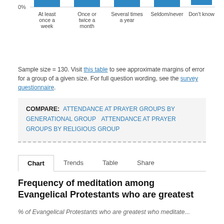[Figure (bar-chart): Partial view of a bar chart showing frequency of attendance at prayer groups. Only the bottom portion of the bars and x-axis labels are visible. 0% baseline label is visible.]
Sample size = 130. Visit this table to see approximate margins of error for a group of a given size. For full question wording, see the survey questionnaire.
COMPARE: ATTENDANCE AT PRAYER GROUPS BY GENERATIONAL GROUP  ATTENDANCE AT PRAYER GROUPS BY RELIGIOUS GROUP
Chart  Trends  Table  Share
Frequency of meditation among Evangelical Protestants who are greatest
% of Evangelical Protestants who are greatest who meditate...